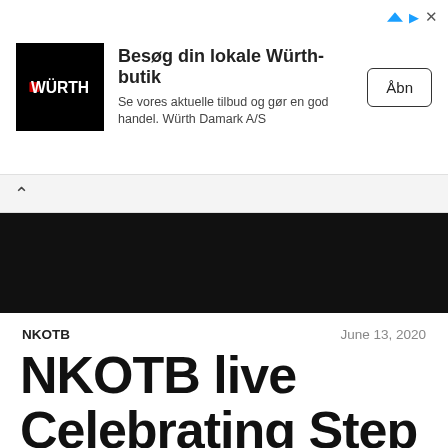[Figure (illustration): Würth advertisement banner with logo, headline 'Besøg din lokale Würth-butik', subtext, and an 'Åbn' button]
NKOTB
June 13, 2020
NKOTB live Celebrating Step By Step 30°